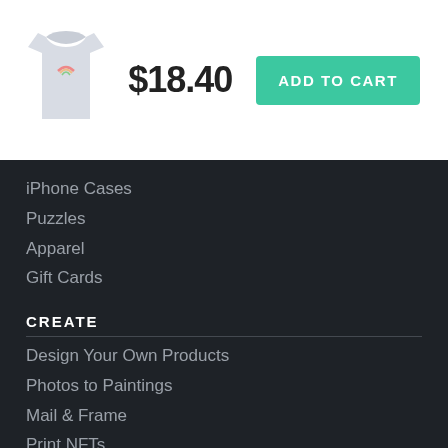[Figure (photo): Light gray t-shirt with small graphic on chest]
$18.40
ADD TO CART
iPhone Cases
Puzzles
Apparel
Gift Cards
CREATE
Design Your Own Products
Photos to Paintings
Mail & Frame
Print NFTs
NFT Merch
SELLERS
Take a Tour
Sell Your Art
Membership Plans